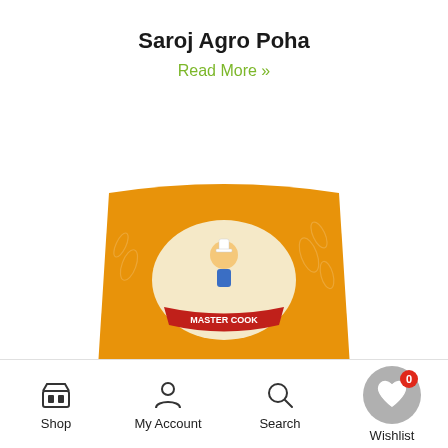Saroj Agro Poha
Read More »
[Figure (photo): Product photo of Master Cook branded yellow packaging bag of Saroj Agro Poha, showing the brand logo with a chef character and food items (idli, poha dish) on the front.]
Shop   My Account   Search   Wishlist